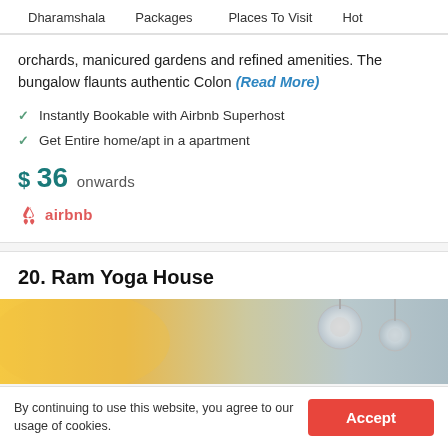Dharamshala   Packages   Places To Visit   Hot
orchards, manicured gardens and refined amenities. The bungalow flaunts authentic Colon (Read More)
Instantly Bookable with Airbnb Superhost
Get Entire home/apt in a apartment
$ 36 onwards
[Figure (logo): Airbnb logo with airbnb text in red/salmon color]
20. Ram Yoga House
[Figure (photo): Interior photo showing ceiling with warm yellow/golden tones and ceiling light fixtures]
By continuing to use this website, you agree to our usage of cookies.